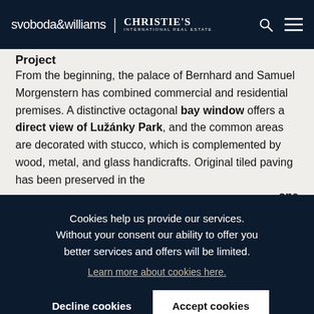svoboda&williams | CHRISTIE'S INTERNATIONAL REAL ESTATE
Project
From the beginning, the palace of Bernhard and Samuel Morgenstern has combined commercial and residential premises. A distinctive octagonal bay window offers a direct view of Lužánky Park, and the common areas are decorated with stucco, which is complemented by wood, metal, and glass handicrafts. Original tiled paving has been preserved in the [...]one meets[...] ect. [...] ited in[...] tments[...] ht[...] floor areas of the units range from about 37 sq. m. to 82 sq. m.
Cookies help us provide our services. Without your consent our ability to offer you better services and offers will be limited. Learn more about cookies here.
Decline cookies | Accept cookies